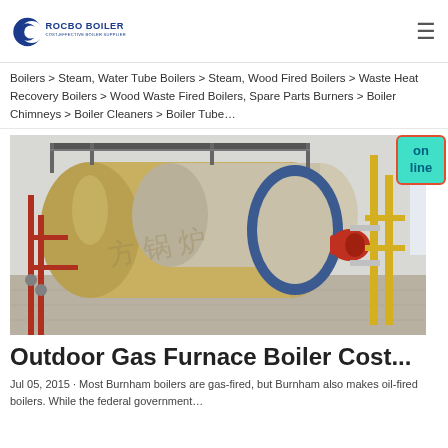[Figure (logo): Rocbo Boiler logo – blue crescent C shape with text ROCBO BOILER and subtitle COST-EFFECTIVE BOILER SUPPLIER]
Boilers > Steam, Water Tube Boilers > Steam, Wood Fired Boilers > Waste Heat Recovery Boilers > Wood Waste Fired Boilers, Spare Parts Burners > Boiler Chimneys > Boiler Cleaners > Boiler Tube…
[Figure (photo): Industrial gas-fired boiler in an indoor facility, showing large horizontal cylindrical boiler tanks with red and yellow piping]
Outdoor Gas Furnace Boiler Cost...
Jul 05, 2015 · Most Burnham boilers are gas-fired, but Burnham also makes oil-fired boilers. While the federal government…